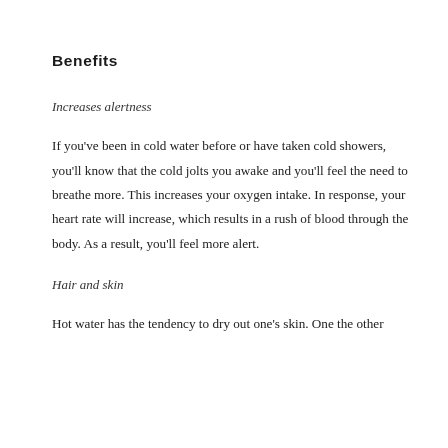Benefits
Increases alertness
If you've been in cold water before or have taken cold showers, you'll know that the cold jolts you awake and you'll feel the need to breathe more. This increases your oxygen intake. In response, your heart rate will increase, which results in a rush of blood through the body. As a result, you'll feel more alert.
Hair and skin
Hot water has the tendency to dry out one's skin. One the other